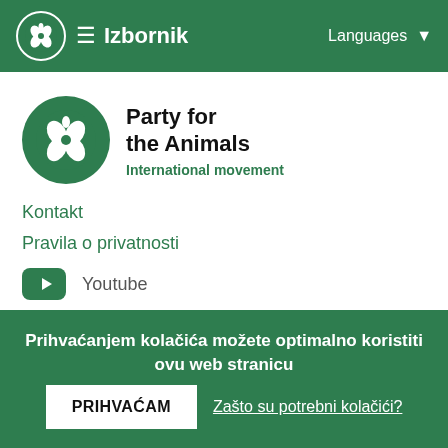☰ Izbornik   Languages ▾
[Figure (logo): Party for the Animals International movement logo — green circle with white butterfly/clover icon, text 'Party for the Animals' bold, 'International movement' in green]
Kontakt
Pravila o privatnosti
Youtube
Facebook
Twitter
Instagram
Prihvaćanjem kolačića možete optimalno koristiti ovu web stranicu
PRIHVAĆAM
Zašto su potrebni kolačići?